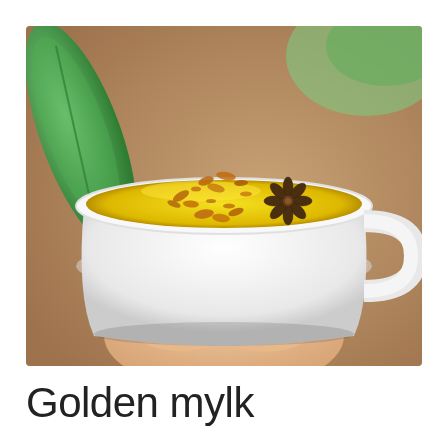[Figure (photo): Overhead view of a white ceramic mug held by a hand, containing golden yellow turmeric milk (golden mylk) with scattered orange spice particles and a star anise garnish. A green leaf and cork/wood surface are visible in the background.]
Golden mylk